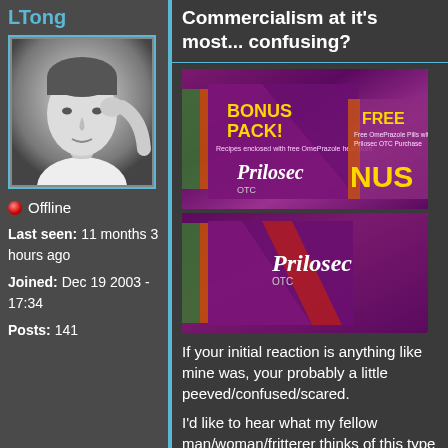LTong
[Figure (photo): Black and white photo of a young man resting his chin on his hand]
🔴 Offline
Last seen: 11 months 3 hours ago
Joined: Dec 19 2003 - 17:34
Posts: 141
Commercialism at it's most... confusing?
[Figure (photo): Two Prilosec OTC product boxes showing a Bonus Pack promotion with a free item offer]
[Figure (photo): Single Prilosec OTC product box]
If your initial reaction is anything like mine was, your probably a little peeved/confused/scared.
I'd like to hear what my fellow man/woman/fritterer thinks of this type of ridiculous commercialism.
Long story short: Diagnosed with Acid Reflux Disease last week,